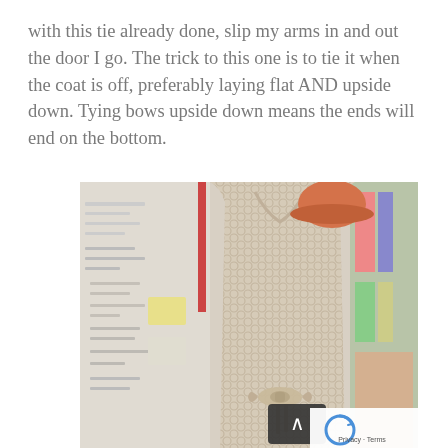with this tie already done, slip my arms in and out the door I go. The trick to this one is to tie it when the coat is off, preferably laying flat AND upside down. Tying bows upside down means the ends will end on the bottom.
[Figure (photo): Back view of a coat on a dress form/mannequin showing a tied bow at the waist. The mannequin has an orange hat. The background shows a sewing or craft shop with a pegboard wall with notions and fabric on the right.]